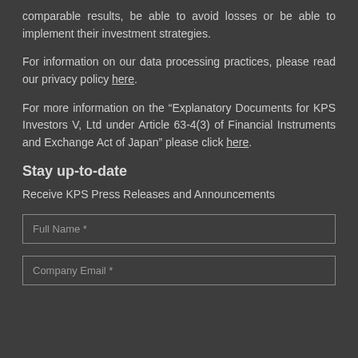comparable results, be able to avoid losses or be able to implement their investment strategies.
For information on our data processing practices, please read our privacy policy here.
For more information on the “Explanatory Documents for KPS Investors V, Ltd under Article 63-4(3) of Financial Instruments and Exchange Act of Japan” please click here.
Stay up-to-date
Receive KPS Press Releases and Announcements
Full Name *
Company Email *